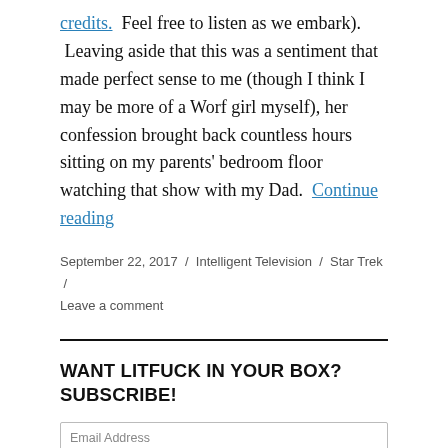credits.  Feel free to listen as we embark).  Leaving aside that this was a sentiment that made perfect sense to me (though I think I may be more of a Worf girl myself), her confession brought back countless hours sitting on my parents' bedroom floor watching that show with my Dad.   Continue reading
September 22, 2017 / Intelligent Television / Star Trek / Leave a comment
WANT LITFUCK IN YOUR BOX? SUBSCRIBE!
Email Address